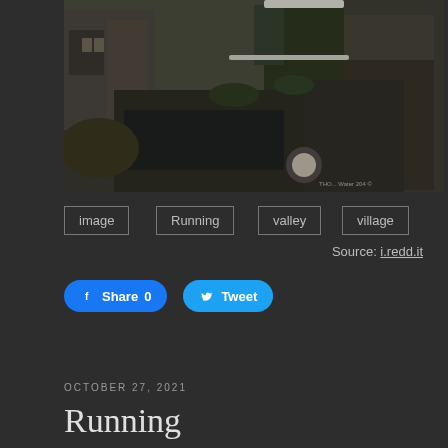[Figure (photo): A stone-walled village lane with ivy-covered walls, wet cobblestone path, and old stone buildings in winter. A stream or channel runs through the scene.]
image
Running
valley
village
Source: i.redd.it
Share 0   Tweet
OCTOBER 27, 2021
Running